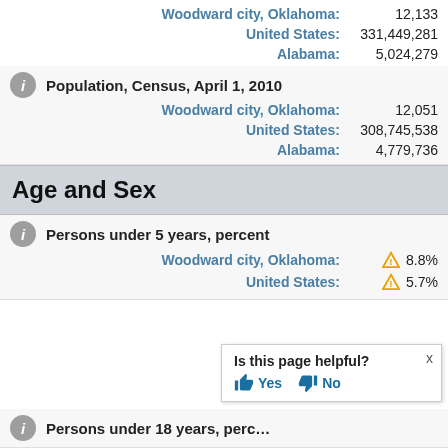| Location | Value |
| --- | --- |
| Woodward city, Oklahoma: | 12,133 |
| United States: | 331,449,281 |
| Alabama: | 5,024,279 |
Population, Census, April 1, 2010
| Location | Value |
| --- | --- |
| Woodward city, Oklahoma: | 12,051 |
| United States: | 308,745,538 |
| Alabama: | 4,779,736 |
Age and Sex
Persons under 5 years, percent
| Location | Value |
| --- | --- |
| Woodward city, Oklahoma: | 8.8% |
| United States: | 5.7% |
Is this page helpful? Yes No
Persons under 18 years, perc…